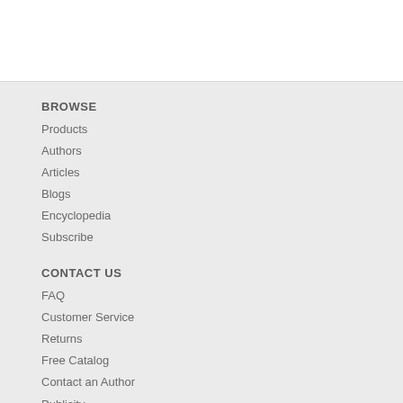BROWSE
Products
Authors
Articles
Blogs
Encyclopedia
Subscribe
CONTACT US
FAQ
Customer Service
Returns
Free Catalog
Contact an Author
Publicity
Author Submissions